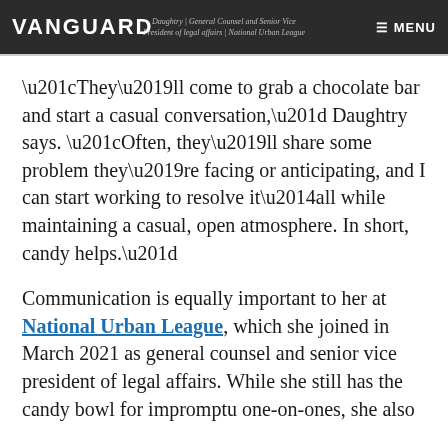VANGUARD | ☰ MENU | Daughtry | General Counsel and Senior Vice President of legal affairs | National Urban League
“They’ll come to grab a chocolate bar and start a casual conversation,” Daughtry says. “Often, they’ll share some problem they’re facing or anticipating, and I can start working to resolve it—all while maintaining a casual, open atmosphere. In short, candy helps.”
Communication is equally important to her at National Urban League, which she joined in March 2021 as general counsel and senior vice president of legal affairs. While she still has the candy bowl for impromptu one-on-ones, she also